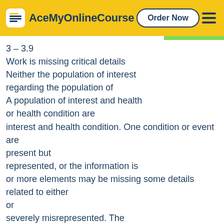AceMyOnlineCourse | Order Now
3 – 3.9
Work is missing critical details
Neither the population of interest
regarding the population of
A population of interest and health
or health condition are
interest and health condition. One condition or event are
present but
represented, or the information is
or more elements may be missing some details related to either
or
severely misrepresented. The
altogether. The population is not
both items may be missing.
population is not well defined.
well defined.
Search process
The search process and related